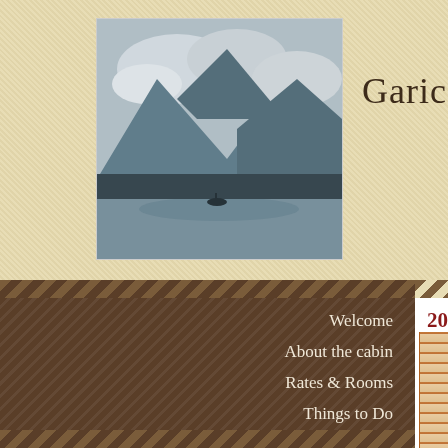[Figure (photo): Mountain landscape with lake and cloudy sky, serving as the site logo/header image]
Garica Cabin
Welcome
About the cabin
Rates & Rooms
Things to Do
Availability
Photo Gallery
Map, Road, Weather
FAQs
Contact us
2018 Hume Lake
Kids Room Upstairs
« Back to Album